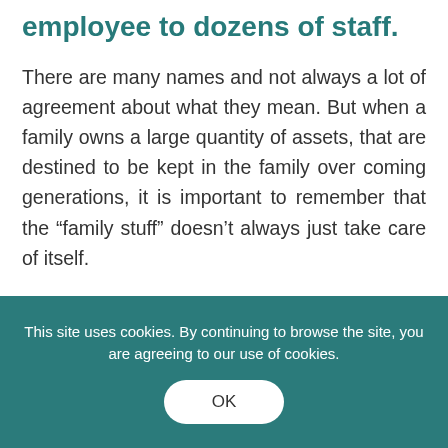employee to dozens of staff.
There are many names and not always a lot of agreement about what they mean. But when a family owns a large quantity of assets, that are destined to be kept in the family over coming generations, it is important to remember that the “family stuff” doesn’t always just take care of itself.
This site uses cookies. By continuing to browse the site, you are agreeing to our use of cookies.